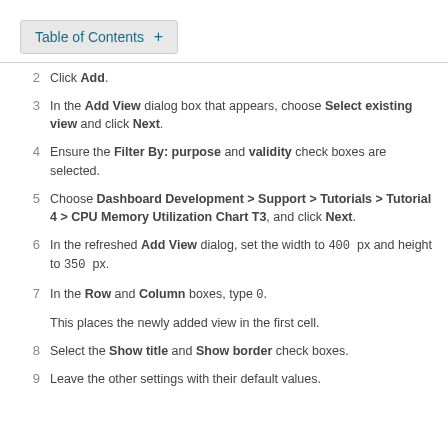Table of Contents +
2   Click Add.
3   In the Add View dialog box that appears, choose Select existing view and click Next.
4   Ensure the Filter By: purpose and validity check boxes are selected.
5   Choose Dashboard Development > Support > Tutorials > Tutorial 4 > CPU Memory Utilization Chart T3, and click Next.
6   In the refreshed Add View dialog, set the width to 400 px and height to 350 px.
7   In the Row and Column boxes, type 0.
This places the newly added view in the first cell.
8   Select the Show title and Show border check boxes.
9   Leave the other settings with their default values.